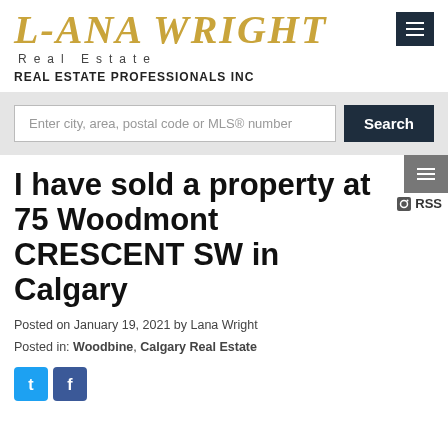LANA WRIGHT Real Estate REAL ESTATE PROFESSIONALS INC
[Figure (screenshot): Search bar with text 'Enter city, area, postal code or MLS® number' and a dark blue Search button]
I have sold a property at 75 Woodmont CRESCENT SW in Calgary
Posted on January 19, 2021 by Lana Wright
Posted in: Woodbine, Calgary Real Estate
[Figure (logo): Twitter and Facebook social media icon buttons]